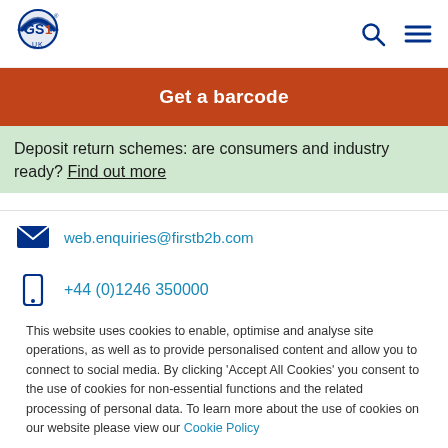[Figure (logo): GS1 UK logo — concentric arcs forming globe shape with GS1 text, UK label below]
Get a barcode
Deposit return schemes: are consumers and industry ready? Find out more
web.enquiries@firstb2b.com
+44 (0)1246 350000
This website uses cookies to enable, optimise and analyse site operations, as well as to provide personalised content and allow you to connect to social media. By clicking ‘Accept All Cookies’ you consent to the use of cookies for non-essential functions and the related processing of personal data. To learn more about the use of cookies on our website please view our Cookie Policy